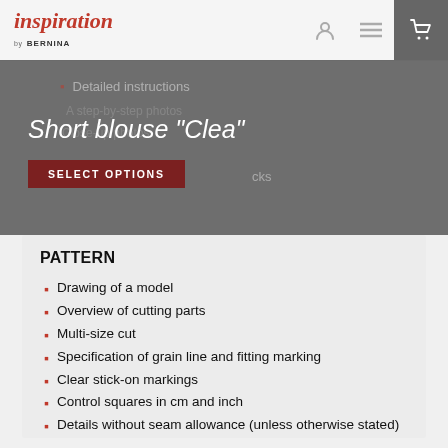inspiration by BERNINA
Short blouse "Clea"
PATTERN
Drawing of a model
Overview of cutting parts
Multi-size cut
Specification of grain line and fitting marking
Clear stick-on markings
Control squares in cm and inch
Details without seam allowance (unless otherwise stated)